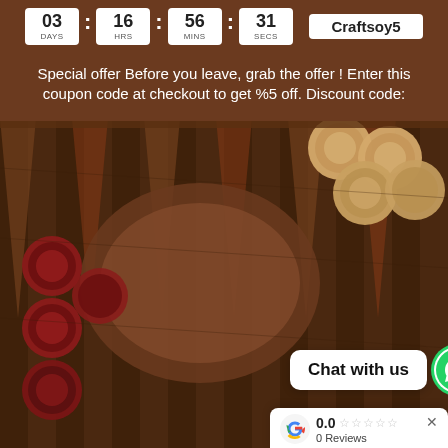[Figure (other): Countdown timer showing 03 days, 16 hrs, 56 mins, 31 secs with coupon code Craftsoy5 on brown background]
Special offer Before you leave, grab the offer ! Enter this coupon code at checkout to get %5 off. Discount code:
[Figure (photo): Close-up photo of a wooden backgammon board with dark red/maroon checkers on left and light wooden checkers on upper right]
Chat with us
0.0 0 Reviews